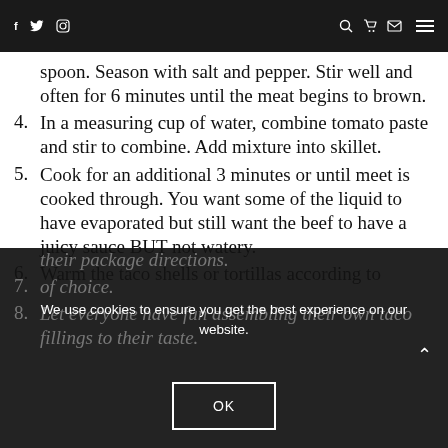f  Twitter  Instagram  [search] [cart] [mail] [menu]
spoon. Season with salt and pepper. Stir well and often for 6 minutes until the meat begins to brown.
4. In a measuring cup of water, combine tomato paste and stir to combine. Add mixture into skillet.
5. Cook for an additional 3 minutes or until meet is cooked through. You want some of the liquid to have evaporated but still want the beef to have a juicy sauce BUT not watery.
6. Warm the taco shells or tortillas according to their package directions.
7. [partially obscured] of choice.
8. Let everyone have fun assembling their own taco fillings to their taste.
We use cookies to ensure you get the best experience on our website.
OK